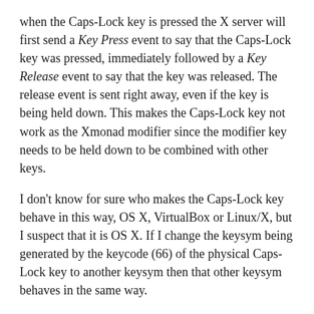when the Caps-Lock key is pressed the X server will first send a Key Press event to say that the Caps-Lock key was pressed, immediately followed by a Key Release event to say that the key was released. The release event is sent right away, even if the key is being held down. This makes the Caps-Lock key not work as the Xmonad modifier since the modifier key needs to be held down to be combined with other keys.
I don't know for sure who makes the Caps-Lock key behave in this way, OS X, VirtualBox or Linux/X, but I suspect that it is OS X. If I change the keysym being generated by the keycode (66) of the physical Caps-Lock key to another keysym then that other keysym behaves in the same way.
Fortunately there is a solution: get OS X to generate another keycode when the physical Caps-Lock key is pressed. Note the difference between keysym and keycode here. It is relatively straightforward to map the keycode that Caps-Lock generates to a keysym different from Caps-Lock, but as we saw in the